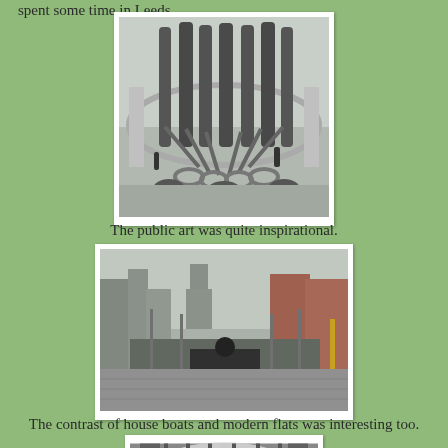spent some time in Leeds
[Figure (photo): Public sculpture with tall black arch-like forms and round metal bases, set in a courtyard with a curved building behind]
The public art was quite inspirational.
[Figure (photo): Urban waterfront with modern apartment buildings, a dark sphere sculpture, and a paved plaza]
The contrast of house boats and modern flats was interesting too.
[Figure (photo): Aerial or close-up view of a modern curved building structure]